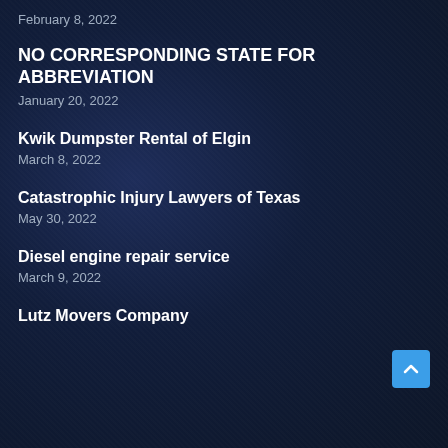February 8, 2022
NO CORRESPONDING STATE FOR ABBREVIATION
January 20, 2022
Kwik Dumpster Rental of Elgin
March 8, 2022
Catastrophic Injury Lawyers of Texas
May 30, 2022
Diesel engine repair service
March 9, 2022
Lutz Movers Company